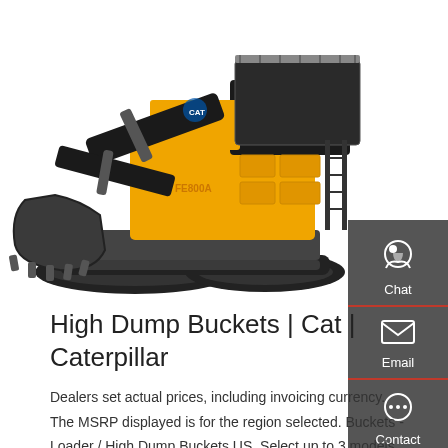[Figure (photo): Large yellow and black hydraulic mining excavator / shovel on tracks, facing left, with a large front bucket attachment. Brand markings visible on the body.]
High Dump Buckets | Cat | Caterpillar
Dealers set actual prices, including invoicing currency. The MSRP displayed is for the region selected. Buckets - Loader / High Dump Buckets US. Select up to 3 models to compare. Model.